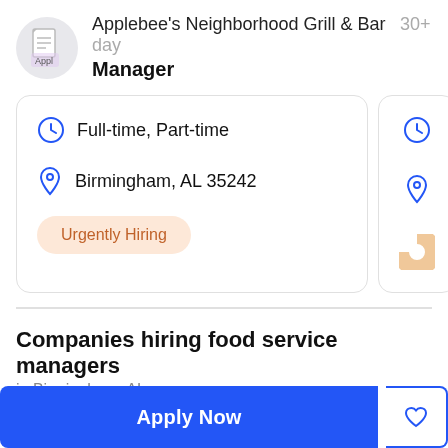Applebee's Neighborhood Grill & Bar   30+ days
Manager
Full-time, Part-time
Birmingham, AL 35242
Urgently Hiring
Companies hiring food service managers
in Birmingham, AL
Apply Now